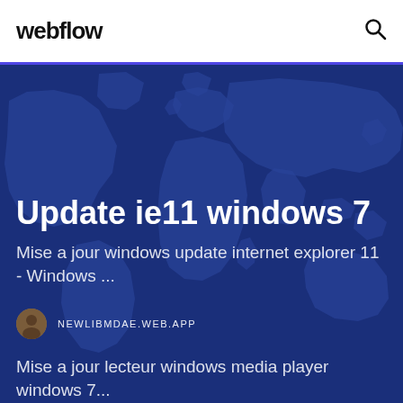webflow
[Figure (illustration): Dark blue world map background image with lighter blue continent outlines on a deep navy/blue background, used as hero section backdrop]
Update ie11 windows 7
Mise a jour windows update internet explorer 11 - Windows ...
NEWLIBMDAE.WEB.APP
Mise a jour lecteur windows media player windows 7...